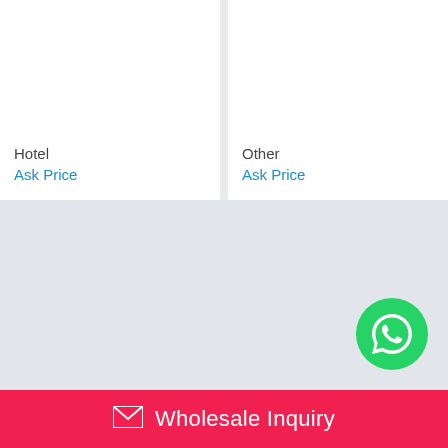Hotel
Ask Price
Other
Ask Price
[Figure (logo): WhatsApp green circular button with phone icon]
Wholesale Inquiry